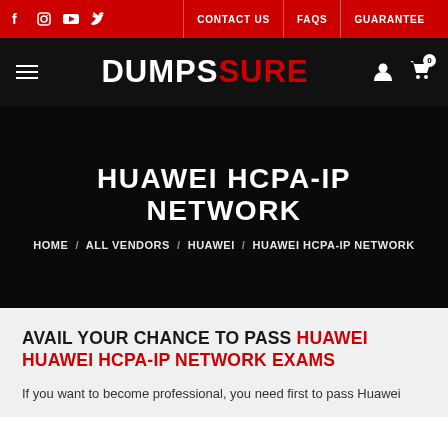CONTACT US | FAQS | GUARANTEE
[Figure (logo): DumpsSure logo with DUMPS in white and SURE in red on black background]
HUAWEI HCPA-IP NETWORK
HOME / ALL VENDORS / HUAWEI / HUAWEI HCPA-IP NETWORK
AVAIL YOUR CHANCE TO PASS HUAWEI HUAWEI HCPA-IP NETWORK EXAMS
If you want to become professional, you need first to pass Huawei